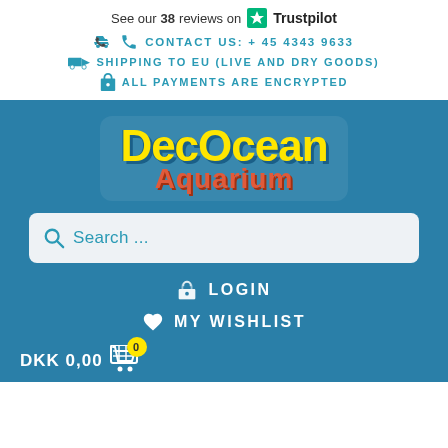See our 38 reviews on Trustpilot
CONTACT US: + 45 4343 9633
SHIPPING TO EU (LIVE AND DRY GOODS)
ALL PAYMENTS ARE ENCRYPTED
[Figure (logo): DecOcean Aquarium logo with yellow DecOcean text and red Aquarium text on teal background]
Search ...
LOGIN
MY WISHLIST
DKK 0,00